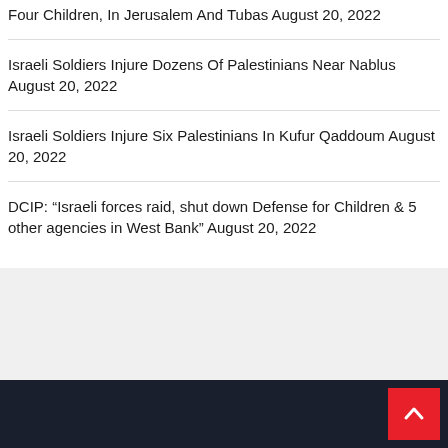Four Children, In Jerusalem And Tubas August 20, 2022
Israeli Soldiers Injure Dozens Of Palestinians Near Nablus August 20, 2022
Israeli Soldiers Injure Six Palestinians In Kufur Qaddoum August 20, 2022
DCIP: “Israeli forces raid, shut down Defense for Children & 5 other agencies in West Bank” August 20, 2022